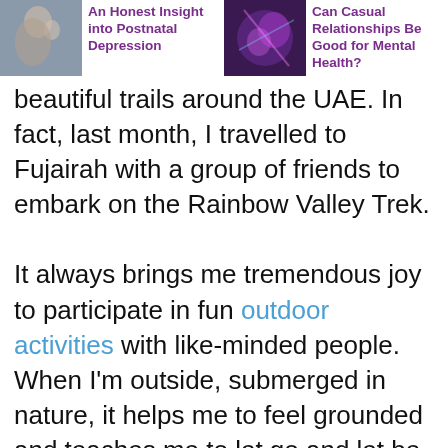[Figure (photo): Thumbnail image of mother and child, related to postnatal depression article]
An Honest Insight into Postnatal Depression
[Figure (photo): Thumbnail image with abstract colorful background, related to casual relationships article]
Can Casual Relationships Be Good for Mental Health?
beautiful trails around the UAE. In fact, last month, I travelled to Fujairah with a group of friends to embark on the Rainbow Valley Trek.

It always brings me tremendous joy to participate in fun outdoor activities with like-minded people. When I'm outside, submerged in nature, it helps me to feel grounded and teaches me to let go and let be. Nature is beautiful and evokes happiness, yet it's not trying or doing anything – it just is. It reminds me that I myself don't need to try or do anything to be happy, instead, just being authentically me and